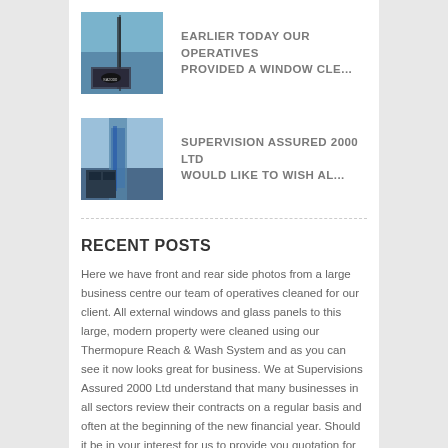[Figure (photo): Thumbnail photo of building exterior with window cleaning equipment visible]
EARLIER TODAY OUR OPERATIVES PROVIDED A WINDOW CLE...
[Figure (photo): Thumbnail photo of window cleaning operative working on building]
SUPERVISION ASSURED 2000 LTD WOULD LIKE TO WISH AL...
RECENT POSTS
Here we have front and rear side photos from a large business centre our team of operatives cleaned for our client. All external windows and glass panels to this large, modern property were cleaned using our Thermopure Reach & Wash System and as you can see it now looks great for business. We at Supervisions Assured 2000 Ltd understand that many businesses in all sectors review their contracts on a regular basis and often at the beginning of the new financial year. Should it be in your interest for us to provide you quotation for the external